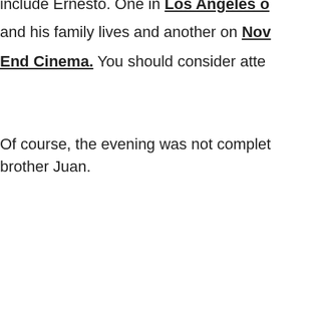include Ernesto. One in Los Angeles on and his family lives and another on November End Cinema. You should consider atte...
Of course, the evening was not complete... brother Juan.